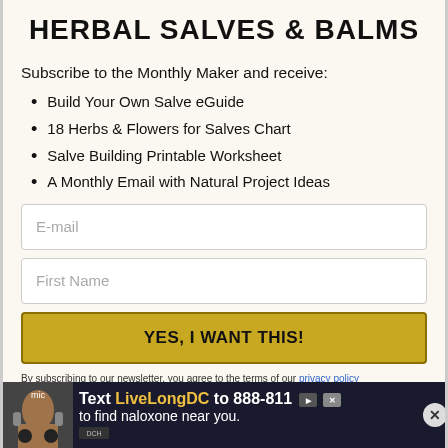HERBAL SALVES & BALMS
Subscribe to the Monthly Maker and receive:
Build Your Own Salve eGuide
18 Herbs & Flowers for Salves Chart
Salve Building Printable Worksheet
A Monthly Email with Natural Project Ideas
E-mail
First Name
YES, I WANT THIS!
By subscribing to our newsletter, you agree to the terms of our privacy policy
[Figure (infographic): Advertisement bar: Text LiveLongDC to 888-811 to find naloxone near you.]